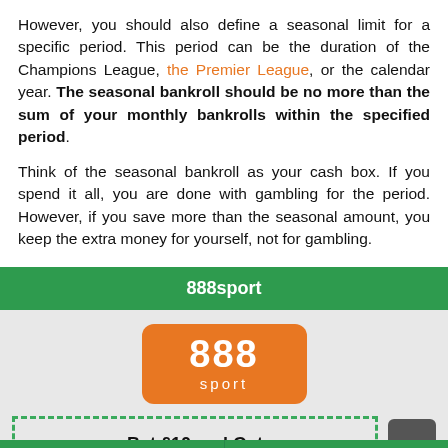However, you should also define a seasonal limit for a specific period. This period can be the duration of the Champions League, the Premier League, or the calendar year. The seasonal bankroll should be no more than the sum of your monthly bankrolls within the specified period.
Think of the seasonal bankroll as your cash box. If you spend it all, you are done with gambling for the period. However, if you save more than the seasonal amount, you keep the extra money for yourself, not for gambling.
[Figure (infographic): 888sport promotional card with orange 888sport logo, dashed green border promo box saying 'Bet £10 and Get', upload arrow button, and bottom navigation bar with Quick Links and Top This month options on green background.]